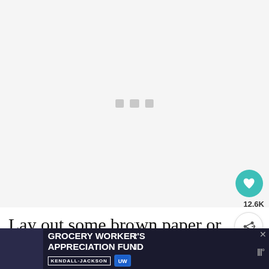[Figure (photo): Loading placeholder with three gray squares in the center on a light gray background]
Lay out some brown paper or newspaper. L the stocking on top.
[Figure (infographic): Advertisement banner: GROCERY WORKER'S APPRECIATION FUND with Kendall Jackson and United Way logos]